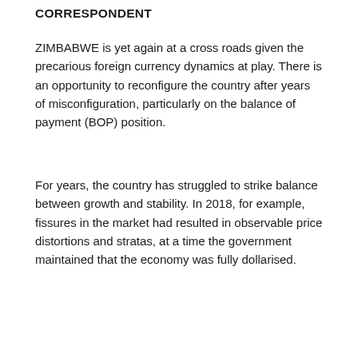CORRESPONDENT
ZIMBABWE is yet again at a cross roads given the precarious foreign currency dynamics at play. There is an opportunity to reconfigure the country after years of misconfiguration, particularly on the balance of payment (BOP) position.
For years, the country has struggled to strike balance between growth and stability. In 2018, for example, fissures in the market had resulted in observable price distortions and stratas, at a time the government maintained that the economy was fully dollarised.